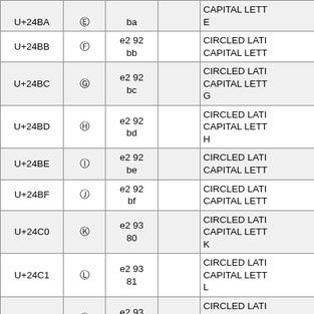| Code Point | Glyph | UTF-8 | HTML | Name |
| --- | --- | --- | --- | --- |
| U+24BA | Ⓔ | e2 92 ba |  | CIRCLED LATIN CAPITAL LETTER E |
| U+24BB | Ⓕ | e2 92 bb |  | CIRCLED LATIN CAPITAL LETTER F |
| U+24BC | Ⓖ | e2 92 bc |  | CIRCLED LATIN CAPITAL LETTER G |
| U+24BD | Ⓗ | e2 92 bd |  | CIRCLED LATIN CAPITAL LETTER H |
| U+24BE | Ⓘ | e2 92 be |  | CIRCLED LATIN CAPITAL LETTER I |
| U+24BF | Ⓙ | e2 92 bf |  | CIRCLED LATIN CAPITAL LETTER J |
| U+24C0 | Ⓚ | e2 93 80 |  | CIRCLED LATIN CAPITAL LETTER K |
| U+24C1 | Ⓛ | e2 93 81 |  | CIRCLED LATIN CAPITAL LETTER L |
| U+24C2 | Ⓜ | e2 93 82 |  | CIRCLED LATIN CAPITAL LETTER M |
| U+24C3 | Ⓝ | e2 93 |  | CIRCLED LATIN |